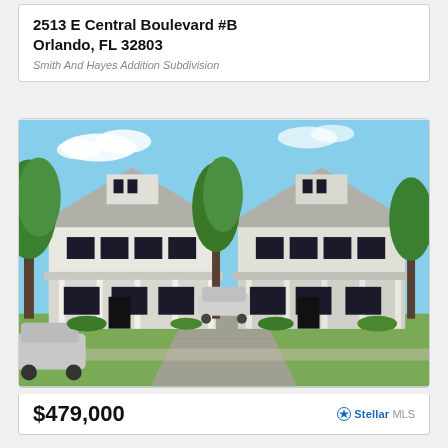2513 E Central Boulevard #B
Orlando, FL 32803
Smith And Hayes Addition Subdivision
[Figure (photo): Exterior rendering of two modern white craftsman-style two-story homes with front porches, black window frames, and a shared paved driveway. A car is parked in the driveway. Trees and landscaping visible. Another car partially visible on the left.]
$479,000
Stellar MLS